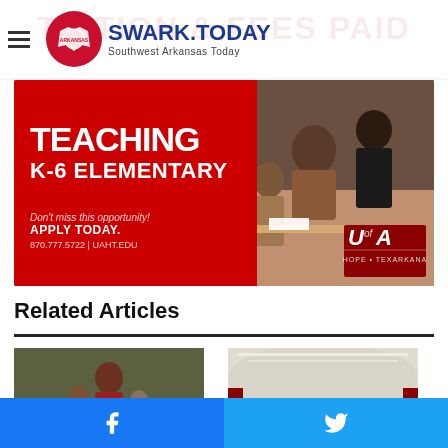SWARK.TODAY — Southwest Arkansas Today
[Figure (photo): Advertisement banner for University of Arkansas Hope-Texarkana: Teaching K-6 Elementary. Text reads 'TEACHING K-6 ELEMENTARY', 'Don't miss this opportunity!', 'APPLY TODAY.', '870.777.5722 | UAHT.EDU'. Shows teacher helping young students. UA of A Hope Texarkana logo.]
Related Articles
[Figure (photo): Photo of police officer posing with two children]
[Figure (photo): Photo of indoor athletic facility with people]